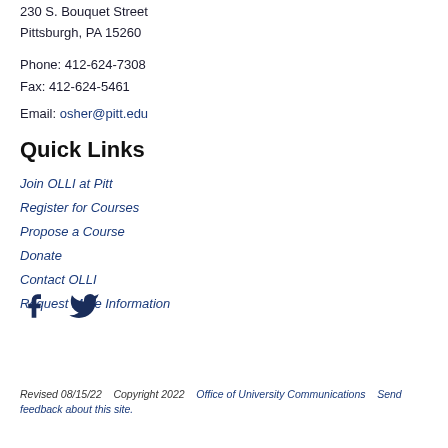230 S. Bouquet Street
Pittsburgh, PA 15260
Phone: 412-624-7308
Fax: 412-624-5461
Email: osher@pitt.edu
Quick Links
Join OLLI at Pitt
Register for Courses
Propose a Course
Donate
Contact OLLI
Request More Information
[Figure (illustration): Facebook and Twitter social media icons]
Revised 08/15/22    Copyright 2022    Office of University Communications    Send feedback about this site.